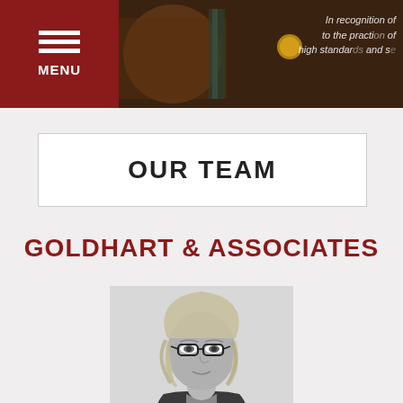MENU | In recognition to the practice, high standards, dedication and service
OUR TEAM
GOLDHART & ASSOCIATES
[Figure (photo): Black and white professional portrait of a woman with glasses and wavy blonde hair wearing a dark blazer and pearl necklace]